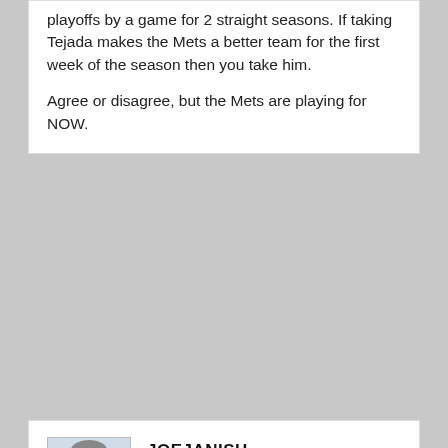playoffs by a game for 2 straight seasons. If taking Tejada makes the Mets a better team for the first week of the season then you take him.
Agree or disagree, but the Mets are playing for NOW.
[Figure (photo): Avatar photo of JoeJanish, a man in a blue shirt]
JOEJANISH
april 4, 2010 at 1:45 pm
tarheelcoach – disagree on Catalanotto. Why can't you have Catalanotto and Carter and not Garry Mathews, Jr.? Or not Mike Jacobs? Or not Alex Cora? Isn't Cora redundant to Tejada?
The problem with Tejada is that a) his defense won't make a difference he's error prone; and b) he can't hit